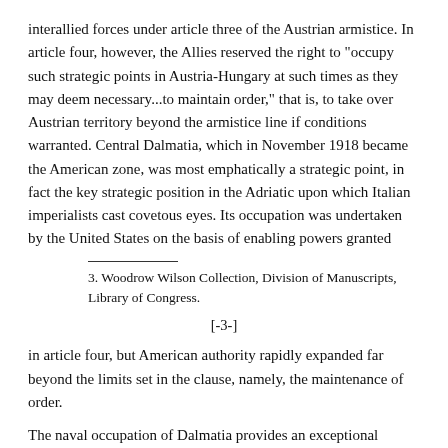interallied forces under article three of the Austrian armistice. In article four, however, the Allies reserved the right to "occupy such strategic points in Austria-Hungary at such times as they may deem necessary...to maintain order," that is, to take over Austrian territory beyond the armistice line if conditions warranted. Central Dalmatia, which in November 1918 became the American zone, was most emphatically a strategic point, in fact the key strategic position in the Adriatic upon which Italian imperialists cast covetous eyes. Its occupation was undertaken by the United States on the basis of enabling powers granted
3. Woodrow Wilson Collection, Division of Manuscripts, Library of Congress.
[-3-]
in article four, but American authority rapidly expanded far beyond the limits set in the clause, namely, the maintenance of order.
The naval occupation of Dalmatia provides an exceptional illustration of adaptation of form to mission. In the initial stages it was regarded simply as a routine process in the execution of armistice naval terms, nothing